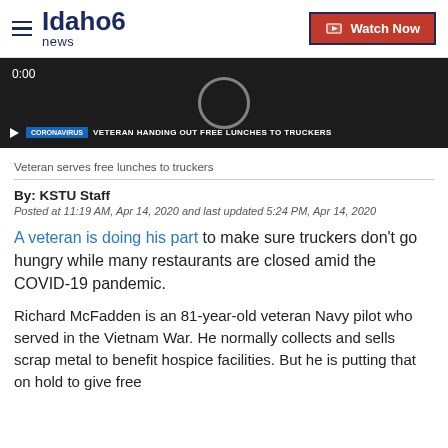Idaho News 6 | Watch Now
[Figure (screenshot): Video thumbnail showing a dark screen with time 0:00, a circular play indicator, and lower bar reading 'CORONAVIRUS - VETERAN HANDING OUT FREE LUNCHES TO TRUCKERS']
Veteran serves free lunches to truckers
By: KSTU Staff
Posted at 11:19 AM, Apr 14, 2020 and last updated 5:24 PM, Apr 14, 2020
A veteran is doing his part to make sure truckers don't go hungry while many restaurants are closed amid the COVID-19 pandemic.
Richard McFadden is an 81-year-old veteran Navy pilot who served in the Vietnam War. He normally collects and sells scrap metal to benefit hospice facilities. But he is putting that on hold to give free